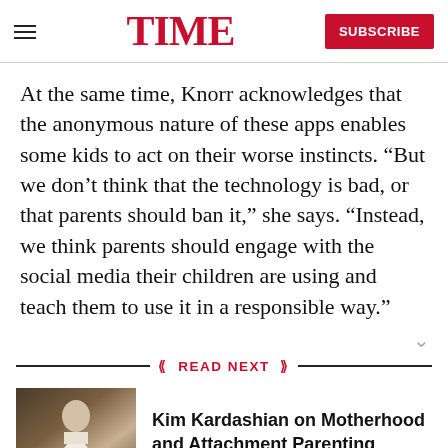TIME
At the same time, Knorr acknowledges that the anonymous nature of these apps enables some kids to act on their worse instincts. “But we don’t think that the technology is bad, or that parents should ban it,” she says. “Instead, we think parents should engage with the social media their children are using and teach them to use it in a responsible way.”
READ NEXT
[Figure (photo): Thumbnail photo of Kim Kardashian in a white outfit]
Kim Kardashian on Motherhood and Attachment Parenting